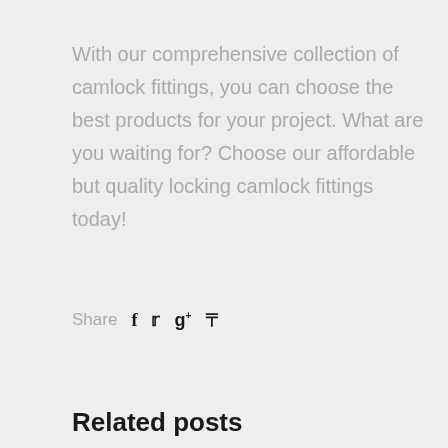With our comprehensive collection of camlock fittings, you can choose the best products for your project. What are you waiting for? Choose our affordable but quality locking camlock fittings today!
Share f 𝕏 g+ p
Related posts